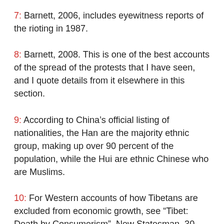7: Barnett, 2006, includes eyewitness reports of the rioting in 1987.
8: Barnett, 2008. This is one of the best accounts of the spread of the protests that I have seen, and I quote details from it elsewhere in this section.
9: According to China’s official listing of nationalities, the Han are the majority ethnic group, making up over 90 percent of the population, while the Hui are ethnic Chinese who are Muslims.
10: For Western accounts of how Tibetans are excluded from economic growth, see “Tibet: Death by Consumerism”, New Statesman, 30 August 2007, www.newstatesman.com/200708300022 as well as Barnett, 2006, and French, 2003.